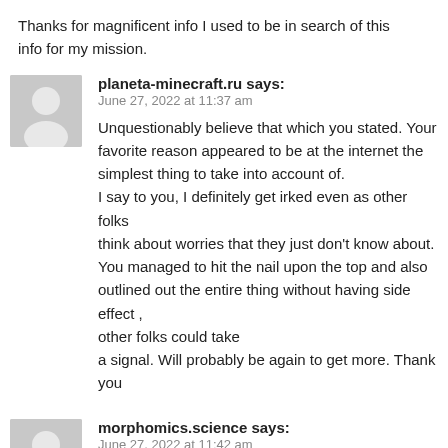Thanks for magnificent info I used to be in search of this
info for my mission.
planeta-minecraft.ru says:
June 27, 2022 at 11:37 am
Unquestionably believe that which you stated. Your favorite reason appeared to be at the internet the simplest thing to take into account of.
I say to you, I definitely get irked even as other folks think about worries that they just don't know about. You managed to hit the nail upon the top and also outlined out the entire thing without having side effect , other folks could take
a signal. Will probably be again to get more. Thank you
morphomics.science says:
June 27, 2022 at 11:42 am
Greetings! Very helpful advice within this article! It is